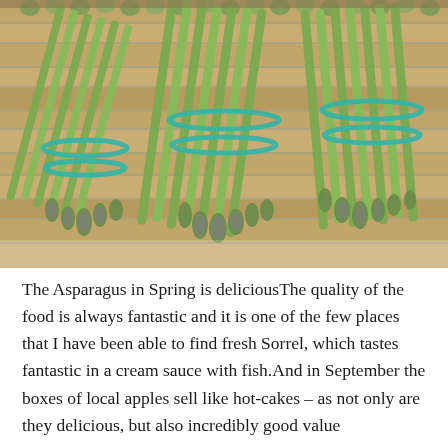[Figure (photo): Bundles of fresh green asparagus tied with teal/turquoise rubber bands, arranged on a wooden crate or tray. The asparagus tips point toward the viewer. Shot from above at an angle.]
The Asparagus in Spring is deliciousThe quality of the food is always fantastic and it is one of the few places that I have been able to find fresh Sorrel, which tastes fantastic in a cream sauce with fish.And in September the boxes of local apples sell like hot-cakes – as not only are they delicious, but also incredibly good value and as with everything else in the shop, absolutely the best